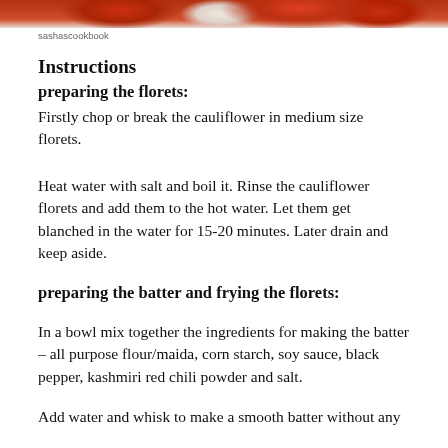[Figure (photo): Top strip of a food photo showing cooked cauliflower with red sauce on a white plate]
sashascookbook
Instructions
preparing the florets:
Firstly chop or break the cauliflower in medium size florets.
Heat water with salt and boil it. Rinse the cauliflower florets and add them to the hot water. Let them get blanched in the water for 15-20 minutes. Later drain and keep aside.
preparing the batter and frying the florets:
In a bowl mix together the ingredients for making the batter – all purpose flour/maida, corn starch, soy sauce, black pepper, kashmiri red chili powder and salt.
Add water and whisk to make a smooth batter without any